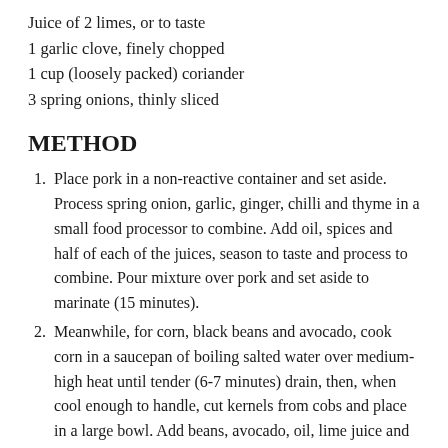Juice of 2 limes, or to taste
1 garlic clove, finely chopped
1 cup (loosely packed) coriander
3 spring onions, thinly sliced
METHOD
Place pork in a non-reactive container and set aside. Process spring onion, garlic, ginger, chilli and thyme in a small food processor to combine. Add oil, spices and half of each of the juices, season to taste and process to combine. Pour mixture over pork and set aside to marinate (15 minutes).
Meanwhile, for corn, black beans and avocado, cook corn in a saucepan of boiling salted water over medium-high heat until tender (6-7 minutes) drain, then, when cool enough to handle, cut kernels from cobs and place in a large bowl. Add beans, avocado, oil, lime juice and garlic, season to taste and toss to combine. Refrigerate until required. Just before serving, add coriander and spring onion and toss to combine.